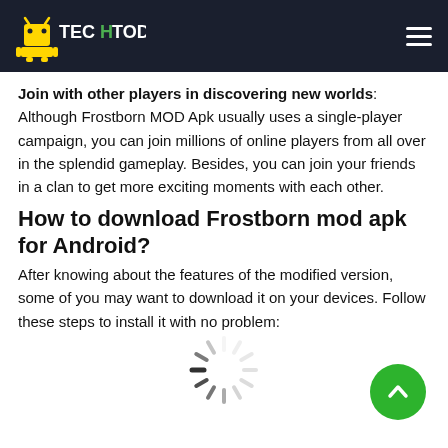Techtodown
Join with other players in discovering new worlds: Although Frostborn MOD Apk usually uses a single-player campaign, you can join millions of online players from all over in the splendid gameplay. Besides, you can join your friends in a clan to get more exciting moments with each other.
How to download Frostborn mod apk for Android?
After knowing about the features of the modified version, some of you may want to download it on your devices. Follow these steps to install it with no problem:
[Figure (infographic): Loading spinner icon (gray radial lines indicating loading state)]
[Figure (other): Green circular back-to-top button with upward chevron arrow]